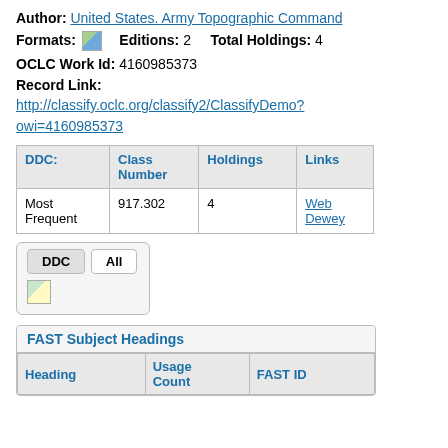Author: United States. Army Topographic Command
Formats: [map icon]   Editions: 2   Total Holdings: 4
OCLC Work Id: 4160985373
Record Link:
http://classify.oclc.org/classify2/ClassifyDemo?owi=4160985373
| DDC: | Class Number | Holdings | Links |
| --- | --- | --- | --- |
| Most Frequent | 917.302 | 4 | Web Dewey |
[Figure (screenshot): DDC / All tab selector with a small map/document icon below]
FAST Subject Headings
| Heading | Usage Count | FAST ID |
| --- | --- | --- |